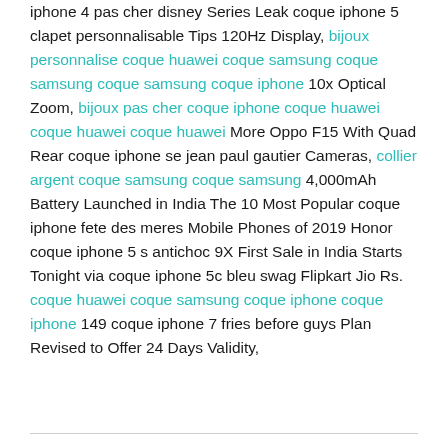iphone 4 pas cher disney Series Leak coque iphone 5 clapet personnalisable Tips 120Hz Display, bijoux personnalise coque huawei coque samsung coque samsung coque samsung coque iphone 10x Optical Zoom, bijoux pas cher coque iphone coque huawei coque huawei coque huawei More Oppo F15 With Quad Rear coque iphone se jean paul gautier Cameras, collier argent coque samsung coque samsung 4,000mAh Battery Launched in India The 10 Most Popular coque iphone fete des meres Mobile Phones of 2019 Honor coque iphone 5 s antichoc 9X First Sale in India Starts Tonight via coque iphone 5c bleu swag Flipkart Jio Rs. coque huawei coque samsung coque iphone coque iphone 149 coque iphone 7 fries before guys Plan Revised to Offer 24 Days Validity,